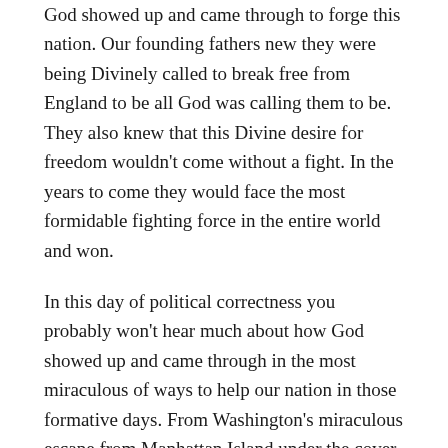God showed up and came through to forge this nation. Our founding fathers new they were being Divinely called to break free from England to be all God was calling them to be. They also knew that this Divine desire for freedom wouldn't come without a fight. In the years to come they would face the most formidable fighting force in the entire world and won.
In this day of political correctness you probably won't hear much about how God showed up and came through in the most miraculous of ways to help our nation in those formative days. From Washington's miraculous escape from Manhattan Island under the cover of a mysterious fog, to the Native American Indians bringing corn to the Colonial Army saving them from certain starvation, one thing our founders knew is that it wasn't by their might or power that brought them to victory.